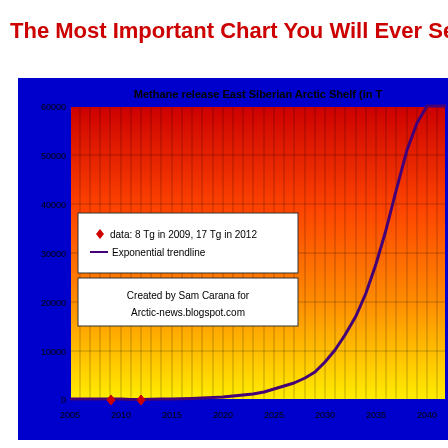The Most Important Chart You Will Ever See in You
[Figure (continuous-plot): Exponential trendline chart showing methane release from East Siberian Arctic Shelf in Teragrams. Y-axis from 0 to 60000, X-axis from 2005 to 2042+. Background is gradient from yellow (bottom) to red (top). A dark purple/navy exponential curve rises sharply after 2035. Two red diamond data points are shown: 8 Tg in 2009 and 17 Tg in 2012. Legend box and attribution box visible.]